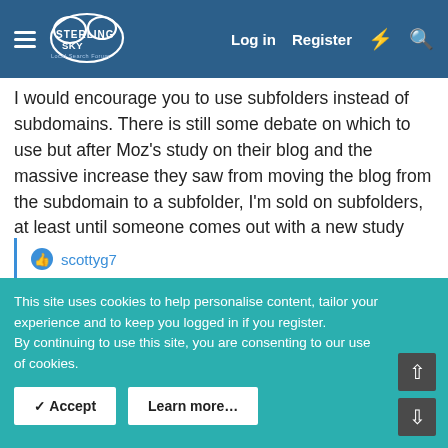Sterling Sky Local Search Forum – Log in | Register
I would encourage you to use subfolders instead of subdomains. There is still some debate on which to use but after Moz's study on their blog and the massive increase they saw from moving the blog from the subdomain to a subfolder, I'm sold on subfolders, at least until someone comes out with a new study proving otherwise 🙂
👍 scottyg7
James Watt
This site uses cookies to help personalise content, tailor your experience and to keep you logged in if you register. By continuing to use this site, you are consenting to our use of cookies.